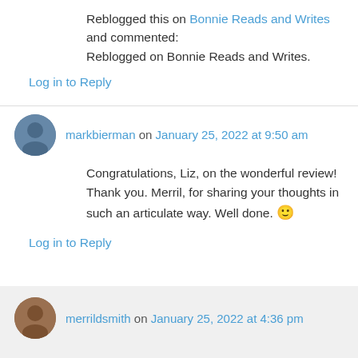Reblogged this on Bonnie Reads and Writes and commented:
Reblogged on Bonnie Reads and Writes.
Log in to Reply
markbierman on January 25, 2022 at 9:50 am
Congratulations, Liz, on the wonderful review! Thank you. Merril, for sharing your thoughts in such an articulate way. Well done. 🙂
Log in to Reply
merrildsmith on January 25, 2022 at 4:36 pm